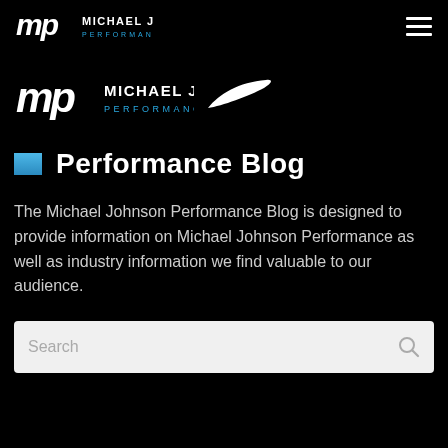Michael Johnson Performance — navigation bar with logo and hamburger menu
[Figure (logo): Michael Johnson Performance logo with Nike swoosh, centered on dark background]
Performance Blog
The Michael Johnson Performance Blog is designed to provide information on Michael Johnson Performance as well as industry information we find valuable to our audience.